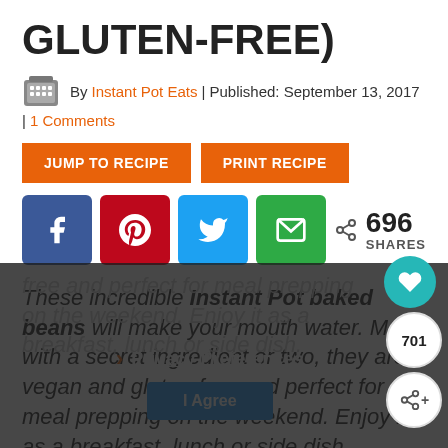GLUTEN-FREE)
By Instant Pot Eats | Published: September 13, 2017 | 1 Comments
JUMP TO RECIPE | PRINT RECIPE
[Figure (other): Social sharing buttons: Facebook, Pinterest, Twitter, Email icons and 696 SHARES counter]
These incredible Instant Pot baked beans will make your mouth water. Made with a secret ingredient or two, they are vegan and gluten-free and perfect for meal prepping on the weekend. Enjoy it as a breakfast, lunch or side dish.
Privacy Preferences | I Agree